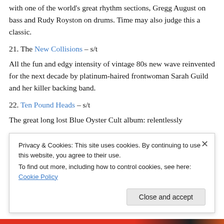with one of the world's great rhythm sections, Gregg August on bass and Rudy Royston on drums. Time may also judge this a classic.
21. The New Collisions – s/t
All the fun and edgy intensity of vintage 80s new wave reinvented for the next decade by platinum-haired frontwoman Sarah Guild and her killer backing band.
22. Ten Pound Heads – s/t
The great long lost Blue Oyster Cult album: relentlessly
Privacy & Cookies: This site uses cookies. By continuing to use this website, you agree to their use.
To find out more, including how to control cookies, see here: Cookie Policy